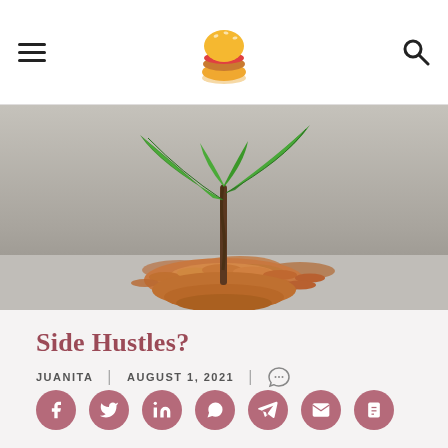Navigation header with hamburger menu, logo, and search icon
[Figure (photo): A small green plant seedling growing out of a pile of copper coins against a grey blurred background — symbolizing financial growth.]
Side Hustles?
JUANITA | AUGUST 1, 2021 | [comment icon]
[Figure (infographic): Row of 7 circular social sharing buttons: Facebook, Twitter, LinkedIn, WhatsApp, Telegram, Email, Print — all in muted rose/mauve color.]